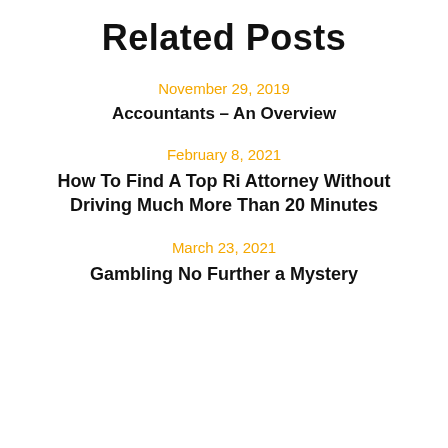Related Posts
November 29, 2019
Accountants – An Overview
February 8, 2021
How To Find A Top Ri Attorney Without Driving Much More Than 20 Minutes
March 23, 2021
Gambling No Further a Mystery